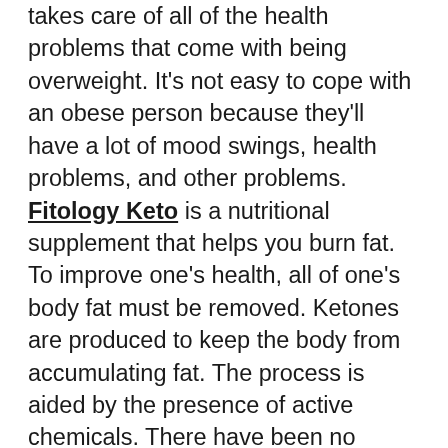takes care of all of the health problems that come with being overweight. It's not easy to cope with an obese person because they'll have a lot of mood swings, health problems, and other problems. Fitology Keto is a nutritional supplement that helps you burn fat. To improve one's health, all of one's body fat must be removed. Ketones are produced to keep the body from accumulating fat. The process is aided by the presence of active chemicals. There have been no reported adverse effects from using this product.
How does Fitology Keto differ from other supplements in terms of how it affects the body?